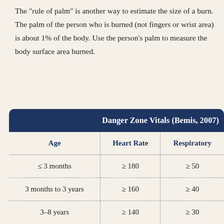The "rule of palm" is another way to estimate the size of a burn. The palm of the person who is burned (not fingers or wrist area) is about 1% of the body. Use the person's palm to measure the body surface area burned.
| Age | Heart Rate | Respiratory |
| --- | --- | --- |
| ≤ 3 months | ≥ 180 | ≥ 50 |
| 3 months to 3 years | ≥ 160 | ≥ 40 |
| 3–8 years | ≥ 140 | ≥ 30 |